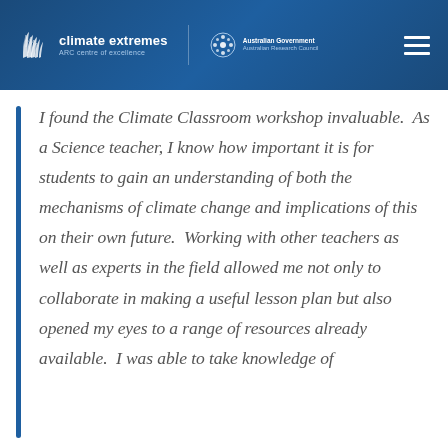climate extremes ARC centre of excellence | Australian Government Australian Research Council
I found the Climate Classroom workshop invaluable. As a Science teacher, I know how important it is for students to gain an understanding of both the mechanisms of climate change and implications of this on their own future. Working with other teachers as well as experts in the field allowed me not only to collaborate in making a useful lesson plan but also opened my eyes to a range of resources already available. I was able to take knowledge of